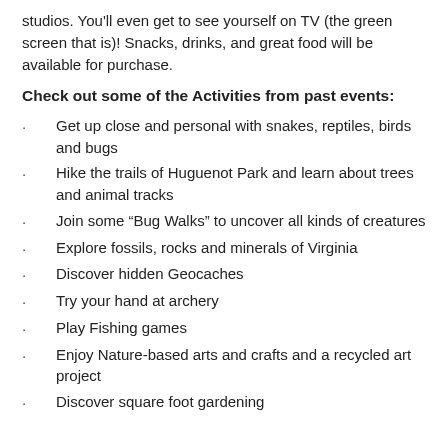studios. You'll even get to see yourself on TV (the green screen that is)! Snacks, drinks, and great food will be available for purchase.
Check out some of the Activities from past events:
Get up close and personal with snakes, reptiles, birds and bugs
Hike the trails of Huguenot Park and learn about trees and animal tracks
Join some “Bug Walks” to uncover all kinds of creatures
Explore fossils, rocks and minerals of Virginia
Discover hidden Geocaches
Try your hand at archery
Play Fishing games
Enjoy Nature-based arts and crafts and a recycled art project
Discover square foot gardening